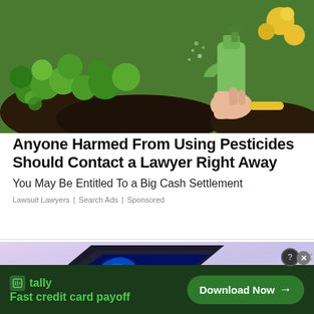[Figure (photo): Hand holding a green spray bottle over garden plants and greenery]
Anyone Harmed From Using Pesticides Should Contact a Lawyer Right Away
You May Be Entitled To a Big Cash Settlement
Lawsuit Lawyers | Search Ads | Sponsored
[Figure (photo): Laptop computer with Windows 11 style wallpaper on screen against a purple gradient background]
[Figure (screenshot): Tally app banner advertisement - Fast credit card payoff with Download Now button]